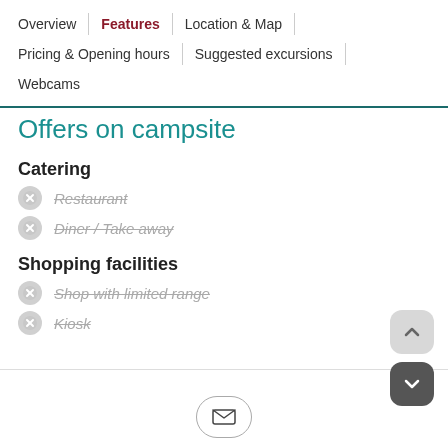Overview | Features | Location & Map | Pricing & Opening hours | Suggested excursions | Webcams
Offers on campsite
Catering
Restaurant
Diner / Take away
Shopping facilities
Shop with limited range
Kiosk